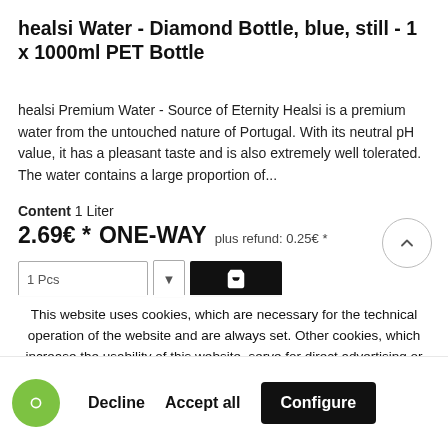healsi Water - Diamond Bottle, blue, still - 1 x 1000ml PET Bottle
healsi Premium Water - Source of Eternity Healsi is a premium water from the untouched nature of Portugal. With its neutral pH value, it has a pleasant taste and is also extremely well tolerated. The water contains a large proportion of...
Content 1 Liter
2.69€ *  ONE-WAY  plus refund: 0.25€ *
This website uses cookies, which are necessary for the technical operation of the website and are always set. Other cookies, which increase the usability of this website, serve for direct advertising or simplify interaction with other websites and social networks, will only be used with your consent.
Decline  Accept all  Configure